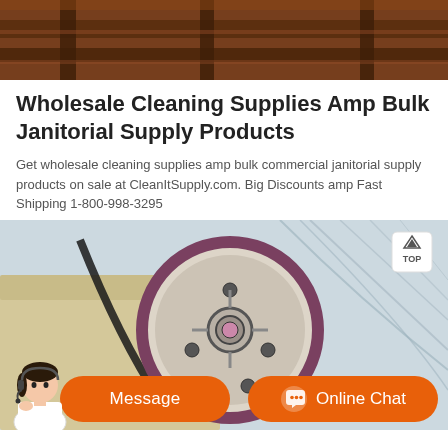[Figure (photo): Top image showing rusty metal industrial structure beams from below, dark brownish-red tones]
Wholesale Cleaning Supplies Amp Bulk Janitorial Supply Products
Get wholesale cleaning supplies amp bulk commercial janitorial supply products on sale at CleanItSupply.com. Big Discounts amp Fast Shipping 1-800-998-3295
[Figure (photo): Industrial machinery photo showing a large flywheel/pulley with belt drive, yellow/cream colored machine body, greenhouse or factory structure visible in background. TOP navigation badge visible in top-right corner. Orange chat bar at bottom with Message button and Online Chat button, and avatar of a woman with headset.]